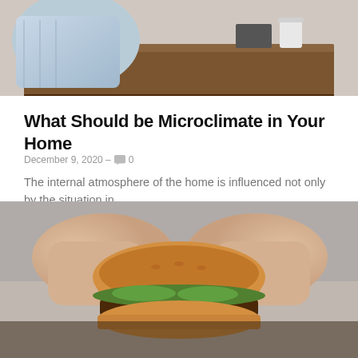[Figure (photo): Person sitting at a wooden desk, viewed from the chest down, with items on the desk surface visible]
What Should be Microclimate in Your Home
December 9, 2020 – 💬 0
The internal atmosphere of the home is influenced not only by the situation in...
[Figure (photo): Close-up of a person's hands holding a large burger with lettuce and meat patty visible]